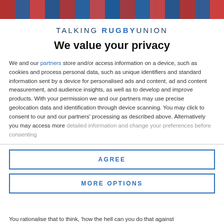[Figure (photo): Rugby players photo banner at top of page]
TALKING RUGBY UNION
We value your privacy
We and our partners store and/or access information on a device, such as cookies and process personal data, such as unique identifiers and standard information sent by a device for personalised ads and content, ad and content measurement, and audience insights, as well as to develop and improve products. With your permission we and our partners may use precise geolocation data and identification through device scanning. You may click to consent to our and our partners' processing as described above. Alternatively you may access more detailed information and change your preferences before consenting
AGREE
MORE OPTIONS
You rationalise that to think, 'how the hell can you do that against